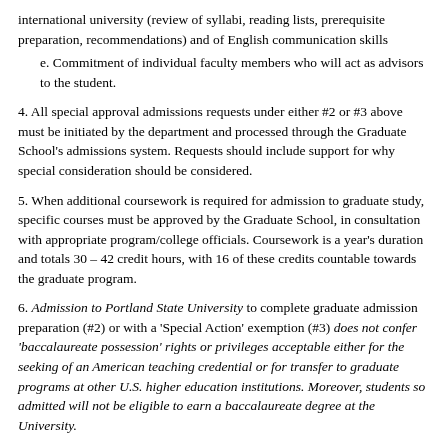international university (review of syllabi, reading lists, prerequisite preparation, recommendations) and of English communication skills
e. Commitment of individual faculty members who will act as advisors to the student.
4. All special approval admissions requests under either #2 or #3 above must be initiated by the department and processed through the Graduate School's admissions system. Requests should include support for why special consideration should be considered.
5. When additional coursework is required for admission to graduate study, specific courses must be approved by the Graduate School, in consultation with appropriate program/college officials. Coursework is a year's duration and totals 30 – 42 credit hours, with 16 of these credits countable towards the graduate program.
6. Admission to Portland State University to complete graduate admission preparation (#2) or with a 'Special Action' exemption (#3) does not confer 'baccalaureate possession' rights or privileges acceptable either for the seeking of an American teaching credential or for transfer to graduate programs at other U.S. higher education institutions. Moreover, students so admitted will not be eligible to earn a baccalaureate degree at the University.